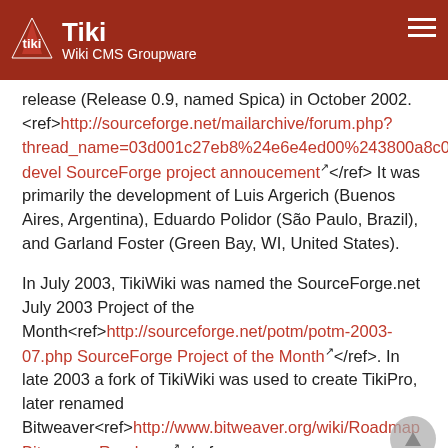Tiki Wiki CMS Groupware
release (Release 0.9, named Spica) in October 2002. <ref>http://sourceforge.net/mailarchive/forum.php?thread_name=03d001c27eb8%24e6e4ed00%243800a8c0%40deathstar&forum_name=tikiwiki-devel SourceForge project annoucement</ref> It was primarily the development of Luis Argerich (Buenos Aires, Argentina), Eduardo Polidor (São Paulo, Brazil), and Garland Foster (Green Bay, WI, United States).
In July 2003, TikiWiki was named the SourceForge.net July 2003 Project of the Month<ref>http://sourceforge.net/potm/potm-2003-07.php SourceForge Project of the Month</ref>. In late 2003 a fork of TikiWiki was used to create TikiPro, later renamed Bitweaver<ref>http://www.bitweaver.org/wiki/Roadmap Bitweaver Roadmap</ref>.